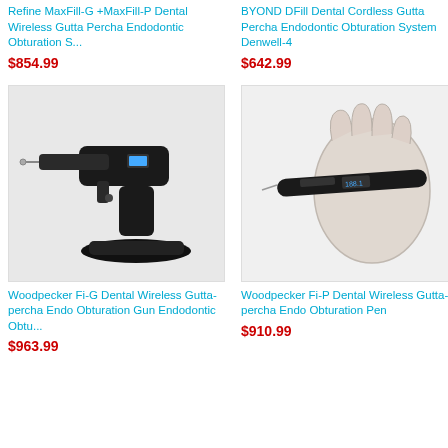Refine MaxFill-G +MaxFill-P Dental Wireless Gutta Percha Endodontic Obturation S...
$854.99
BYOND DFill Dental Cordless Gutta Percha Endodontic Obturation System Denwell-4
$642.99
[Figure (photo): Black cordless dental gutta percha obturation gun device on charging base]
[Figure (photo): Hand holding a black cordless dental gutta percha obturation pen device]
Woodpecker Fi-G Dental Wireless Gutta-percha Endo Obturation Gun Endodontic Obtu...
$963.99
Woodpecker Fi-P Dental Wireless Gutta-percha Endo Obturation Pen
$910.99